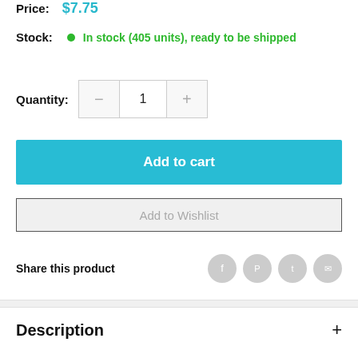Price: $7.75
Stock: In stock (405 units), ready to be shipped
Quantity: 1
Add to cart
Add to Wishlist
Share this product
Description